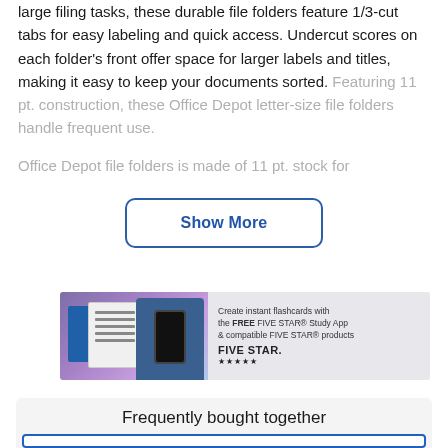large filing tasks, these durable file folders feature 1/3-cut tabs for easy labeling and quick access. Undercut scores on each folder's front offer space for larger labels and titles, making it easy to keep your documents sorted. Featuring 11 pt. construction, these Office Depot letter-size file folders handle frequent use.
Office Depot file folders is made of 11 pt. stock for...
Show More
[Figure (illustration): Five Star brand advertisement banner showing a student with a notebook, folder, and phone. Text reads: Create instant flashcards with the FREE FIVE STAR Study App & compatible FIVE STAR products. Five Star logo with 5 stars.]
Frequently bought together